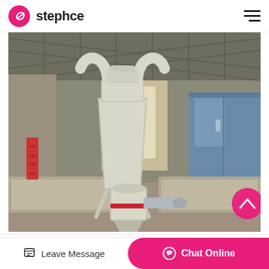stephce
[Figure (photo): Industrial grinding mill machine inside a large warehouse/factory building. The machine features a white cyclone separator with curved pipes at the top, a central cylindrical grinding unit with a red band, and various conveyor/processing components. A blue cabinet is visible on the right side. The building has a corrugated metal roof.]
Jaw Crusher Moblie Crush
Leave Message
Chat Online